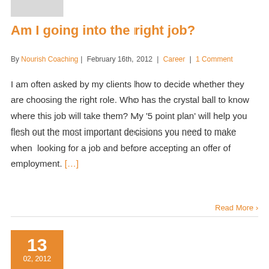[Figure (photo): Small grey placeholder image in top-left corner]
Am I going into the right job?
By Nourish Coaching | February 16th, 2012 | Career | 1 Comment
I am often asked by my clients how to decide whether they are choosing the right role. Who has the crystal ball to know where this job will take them? My ‘5 point plan’ will help you flesh out the most important decisions you need to make when  looking for a job and before accepting an offer of employment. […]
Read More ›
[Figure (other): Orange date box showing number 13 and date 02, 2012]